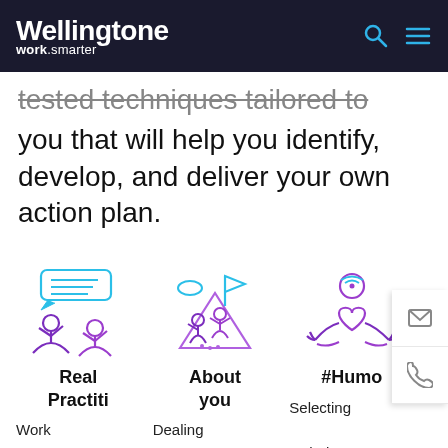Wellingtone work.smarter
tested techniques tailored to you that will help you identify, develop, and deliver your own action plan.
[Figure (illustration): Icon of two people having a conversation with speech bubbles, in purple and blue gradient]
Real Practiti
Work with
[Figure (illustration): Icon of a person hiking/climbing toward a flag on a mountain, in blue and purple gradient]
About you
Dealing with your
[Figure (illustration): Icon of a heart with hands raised and a head/mind icon above, in purple gradient]
#Humo
Selecting techniques from